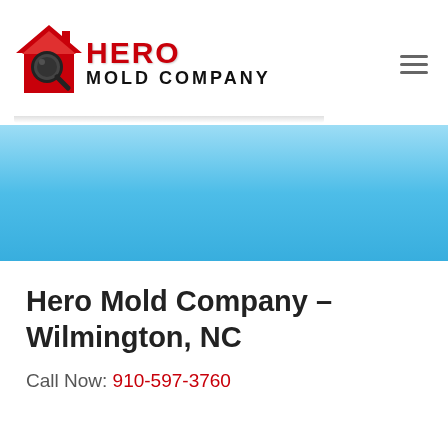[Figure (logo): Hero Mold Company logo with red house icon, magnifying glass, and company name text]
[Figure (other): Light blue hero banner background]
Hero Mold Company – Wilmington, NC
Call Now: 910-597-3760